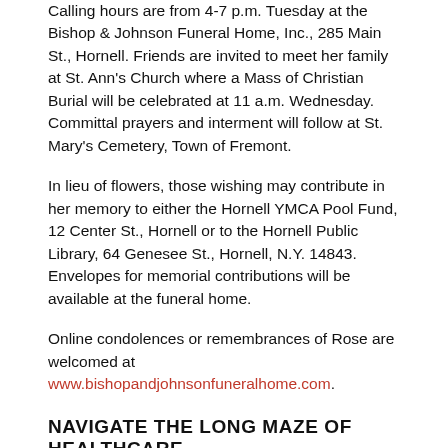Calling hours are from 4-7 p.m. Tuesday at the Bishop & Johnson Funeral Home, Inc., 285 Main St., Hornell. Friends are invited to meet her family at St. Ann's Church where a Mass of Christian Burial will be celebrated at 11 a.m. Wednesday. Committal prayers and interment will follow at St. Mary's Cemetery, Town of Fremont.

In lieu of flowers, those wishing may contribute in her memory to either the Hornell YMCA Pool Fund, 12 Center St., Hornell or to the Hornell Public Library, 64 Genesee St., Hornell, N.Y. 14843. Envelopes for memorial contributions will be available at the funeral home.
Online condolences or remembrances of Rose are welcomed at www.bishopandjohnsonfuneralhome.com.
NAVIGATE THE LONG MAZE OF HEALTHCARE
[Figure (other): Audio player with play button, time display 00:00, progress bar, and total time 00:00 on dark background]
« PREVIOUS